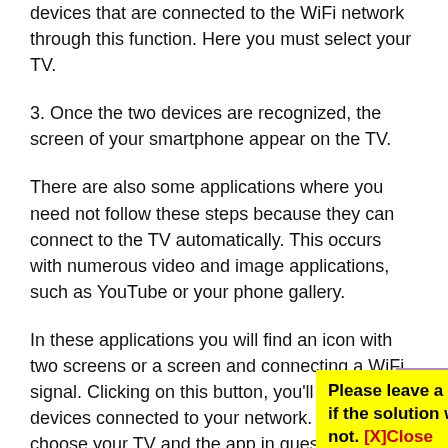devices that are connected to the WiFi network through this function. Here you must select your TV.
3. Once the two devices are recognized, the screen of your smartphone appear on the TV.
There are also some applications where you need not follow these steps because they can connect to the TV automatically. This occurs with numerous video and image applications, such as YouTube or your phone gallery.
In these applications you will find an icon with two screens or a screen and connecting a WiFi signal. Clicking on this button, you'll find all the devices connected to your network. You have to choose your TV and the app in question will appear on the screen.
Do you think it … our smartphone or … how any other…
Please leave a comment if the solution works or not. [X]Close